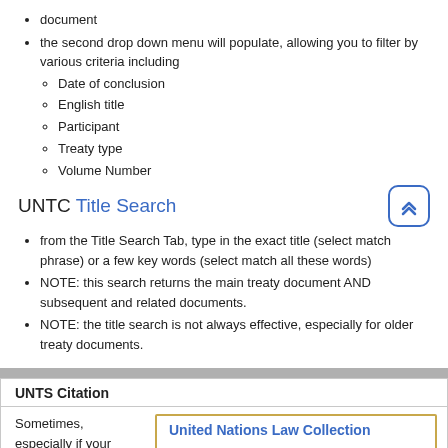document
the second drop down menu will populate, allowing you to filter by various criteria including
Date of conclusion
English title
Participant
Treaty type
Volume Number
UNTC Title Search
from the Title Search Tab, type in the exact title (select match phrase) or a few key words (select match all these words)
NOTE: this search returns the main treaty document AND subsequent and related documents.
NOTE: the title search is not always effective, especially for older treaty documents.
UNTS Citation
Sometimes, especially if your
United Nations Law Collection